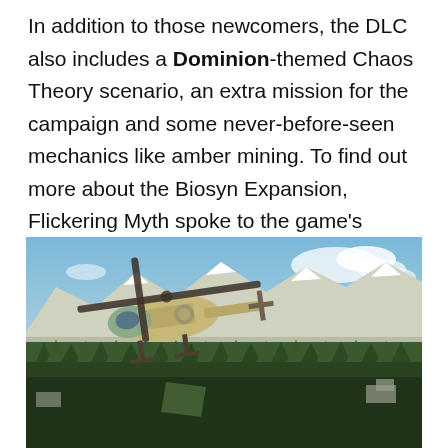In addition to those newcomers, the DLC also includes a Dominion-themed Chaos Theory scenario, an extra mission for the campaign and some never-before-seen mechanics like amber mining. To find out more about the Biosyn Expansion, Flickering Myth spoke to the game's director, Rich Newbold.
[Figure (photo): Aerial screenshot from a video game showing a military helicopter flying over a dense forest landscape with snow-capped mountains in the background and buildings visible below.]